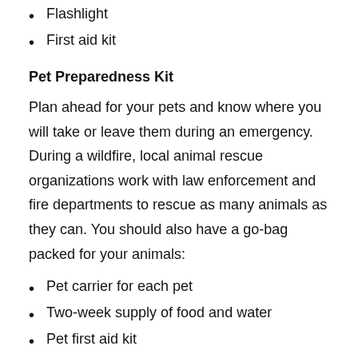Flashlight
First aid kit
Pet Preparedness Kit
Plan ahead for your pets and know where you will take or leave them during an emergency. During a wildfire, local animal rescue organizations work with law enforcement and fire departments to rescue as many animals as they can. You should also have a go-bag packed for your animals:
Pet carrier for each pet
Two-week supply of food and water
Pet first aid kit
Identification tags
Vaccination information